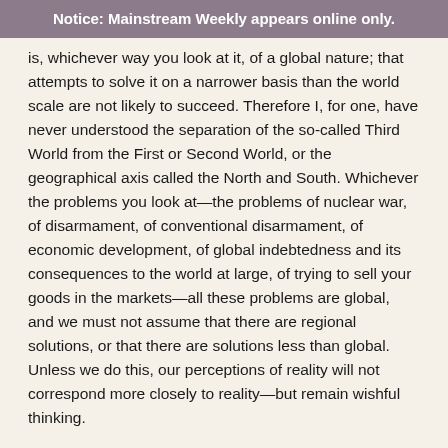Notice: Mainstream Weekly appears online only.
is, whichever way you look at it, of a global nature; that attempts to solve it on a narrower basis than the world scale are not likely to succeed. Therefore I, for one, have never understood the separation of the so-called Third World from the First or Second World, or the geographical axis called the North and South. Whichever the problems you look at—the problems of nuclear war, of disarmament, of conventional disarmament, of economic development, of global indebtedness and its consequences to the world at large, of trying to sell your goods in the markets—all these problems are global, and we must not assume that there are regional solutions, or that there are solutions less than global. Unless we do this, our perceptions of reality will not correspond more closely to reality—but remain wishful thinking.
Archives (2006 on)